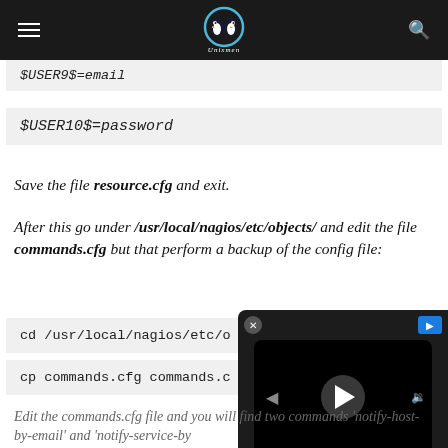Unixmen - Linux/Unix news and reviews
$USER9$=email
$USER10$=password
Save the file resource.cfg and exit.
After this go under /usr/local/nagios/etc/objects/ and edit the file commands.cfg but that perform a backup of the config file:
cd /usr/local/nagios/etc/o
cp commands.cfg commands.c
Edit the commands.cfg file and you will find two commands 'notify-host-by-email' and 'notify-service-by